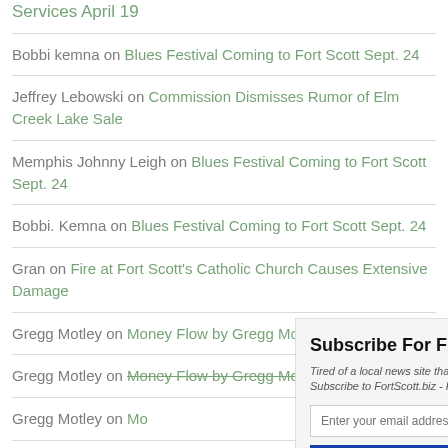Services April 19
Bobbi kemna on Blues Festival Coming to Fort Scott Sept. 24
Jeffrey Lebowski on Commission Dismisses Rumor of Elm Creek Lake Sale
Memphis Johnny Leigh on Blues Festival Coming to Fort Scott Sept. 24
Bobbi. Kemna on Blues Festival Coming to Fort Scott Sept. 24
Gran on Fire at Fort Scott's Catholic Church Causes Extensive Damage
Gregg Motley on Money Flow by Gregg Motley
Gregg Motley on Money Flow by Gregg Motley
Gregg Motley on Mo...
Thom Biro on Obitu...
Valerie Sunmer on Jo...
Subscribe For Free! Tired of a local news site that blocks you every month? Subscribe to FortScott.biz - Read as many articles as you want!